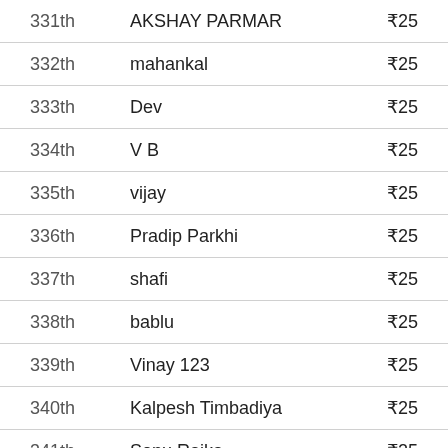| Rank | Name | Prize |
| --- | --- | --- |
| 331th | AKSHAY PARMAR | ₹25 |
| 332th | mahankal | ₹25 |
| 333th | Dev | ₹25 |
| 334th | V B | ₹25 |
| 335th | vijay | ₹25 |
| 336th | Pradip Parkhi | ₹25 |
| 337th | shafi | ₹25 |
| 338th | bablu | ₹25 |
| 339th | Vinay 123 | ₹25 |
| 340th | Kalpesh Timbadiya | ₹25 |
| 341th | Sonu Raika | ₹25 |
| 342th | vijay Parmar | ₹25 |